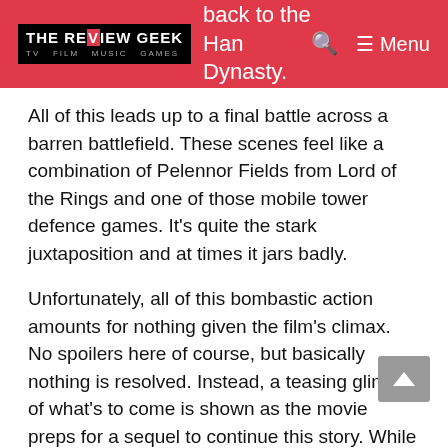help Cao Cao overthrow the evil dictator and bring back to the Han Dynasty. [THE REVIEW GEEK logo] [Search] Menu
All of this leads up to a final battle across a barren battlefield. These scenes feel like a combination of Pelennor Fields from Lord of the Rings and one of those mobile tower defence games. It's quite the stark juxtaposition and at times it jars badly.
Unfortunately, all of this bombastic action amounts for nothing given the film's climax. No spoilers here of course, but basically nothing is resolved. Instead, a teasing glimpse of what's to come is shown as the movie preps for a sequel to continue this story. While there's nothing inherently wrong with that, a warning at the start would have been nice.
Given this is a videogame adaptation (and there's been very few that are actually good), this movie falls